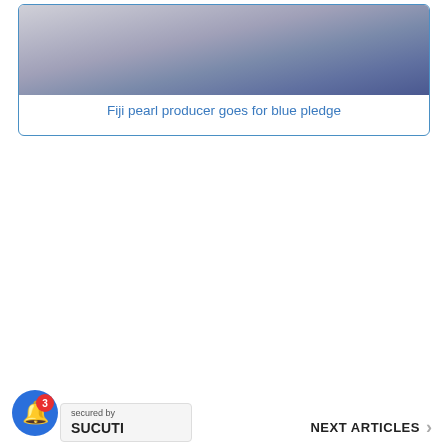[Figure (photo): Article card with gradient image (gray to blue-purple) and title link below]
Fiji pearl producer goes for blue pledge
NEXT ARTICLES ›
[Figure (other): Blue notification bell button with red badge showing count 3]
[Figure (logo): Sucuri 'secured by' security badge]